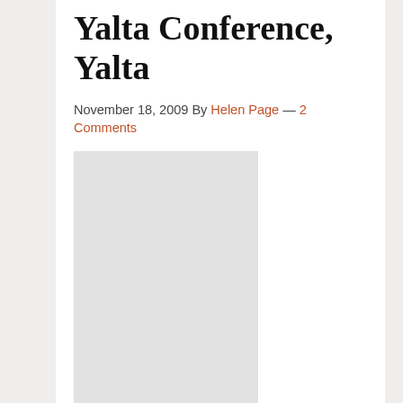Yalta Conference, Yalta
November 18, 2009 By Helen Page — 2 Comments
Livadia (White) Palace is famous as the site of the 1945 Yalta
Conference where the Big Three met to discuss the shape of Europe post World War II. Livadia was built by Tsar Nikolas II as a summer palace for his family. The Palace is steeped with war and